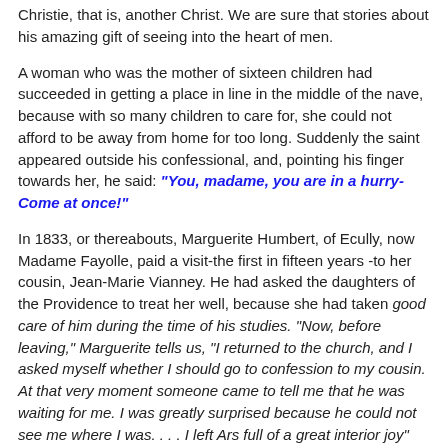Christie, that is, another Christ. We are sure that stories about his amazing gift of seeing into the heart of men.
A woman who was the mother of sixteen children had succeeded in getting a place in line in the middle of the nave, because with so many children to care for, she could not afford to be away from home for too long. Suddenly the saint appeared outside his confessional, and, pointing his finger towards her, he said: "You, madame, you are in a hurry- Come at once!"
In 1833, or thereabouts, Marguerite Humbert, of Ecully, now Madame Fayolle, paid a visit-the first in fifteen years -to her cousin, Jean-Marie Vianney. He had asked the daughters of the Providence to treat her well, because she had taken good care of him during the time of his studies. "Now, before leaving," Marguerite tells us, "I returned to the church, and I asked myself whether I should go to confession to my cousin. At that very moment someone came to tell me that he was waiting for me. I was greatly surprised because he could not see me where I was. . . . I left Ars full of a great interior joy"